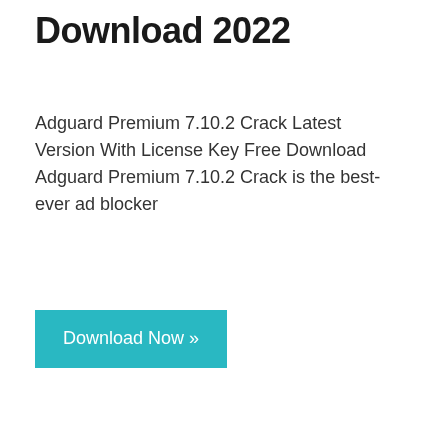Download 2022
Adguard Premium 7.10.2 Crack Latest Version With License Key Free Download Adguard Premium 7.10.2 Crack is the best-ever ad blocker
[Figure (other): Teal/cyan download button labeled 'Download Now »']